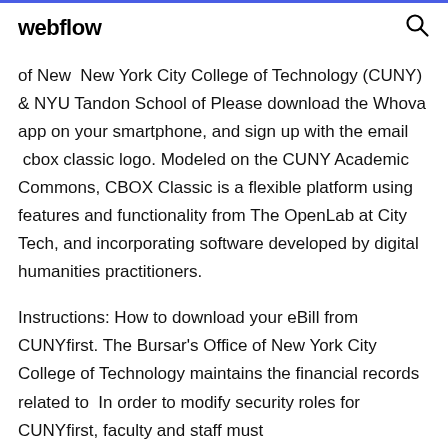webflow
of New  New York City College of Technology (CUNY) & NYU Tandon School of Please download the Whova app on your smartphone, and sign up with the email  cbox classic logo. Modeled on the CUNY Academic Commons, CBOX Classic is a flexible platform using features and functionality from The OpenLab at City Tech, and incorporating software developed by digital humanities practitioners.
Instructions: How to download your eBill from CUNYfirst. The Bursar's Office of New York City College of Technology maintains the financial records related to  In order to modify security roles for CUNYfirst, faculty and staff must